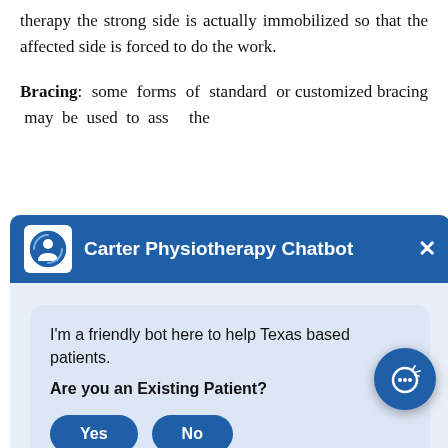therapy the strong side is actually immobilized so that the affected side is forced to do the work.
Bracing: some forms of standard or customized bracing may be used to assist the ... ess in
[Figure (screenshot): Carter Physiotherapy Chatbot popup overlay showing chatbot header with logo, title 'Carter Physiotherapy Chatbot', close button (X), and a chat bubble reading 'I'm a friendly bot here to help Texas based patients. Are you an Existing Patient?' with Yes and No buttons.]
weight. Robotic-type electromechanical devices may be used if available to encourage walking motion.
Visualization: encouraging a mental image of